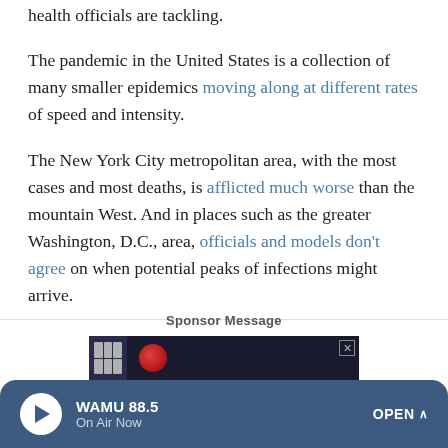health officials are tackling.
The pandemic in the United States is a collection of many smaller epidemics moving along at different rates of speed and intensity.
The New York City metropolitan area, with the most cases and most deaths, is afflicted much worse than the mountain West. And in places such as the greater Washington, D.C., area, officials and models don't agree on when potential peaks of infections might arrive.
Sponsor Message
[Figure (other): Advertisement banner with dark background showing a red circular graphic and blue molecular/virus imagery, with a close (X) button]
[Figure (other): WAMU 88.5 radio player bar with play button, On Air Now label, and OPEN button]